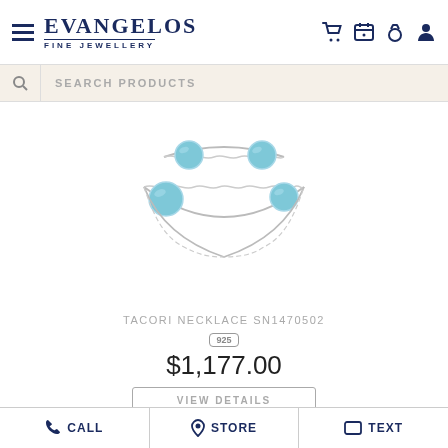EVANGELOS FINE JEWELLERY
SEARCH PRODUCTS
[Figure (photo): A silver chain necklace with four round blue topaz gemstone stations, displayed against a white background]
TACORI NECKLACE SN1470502
925
$1,177.00
VIEW DETAILS
CALL  STORE  TEXT